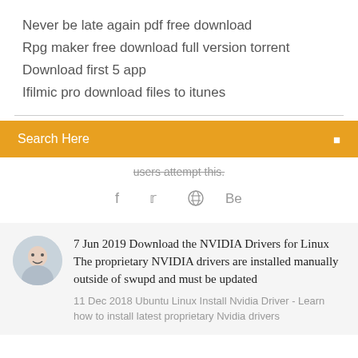Never be late again pdf free download
Rpg maker free download full version torrent
Download first 5 app
Ifilmic pro download files to itunes
[Figure (screenshot): Orange search bar with 'Search Here' placeholder text and a small icon on the right]
users attempt this.
[Figure (infographic): Social media icons: Facebook (f), Twitter bird, a circular icon, and Behance (Be)]
7 Jun 2019 Download the NVIDIA Drivers for Linux The proprietary NVIDIA drivers are installed manually outside of swupd and must be updated
11 Dec 2018 Ubuntu Linux Install Nvidia Driver - Learn how to install latest proprietary Nvidia drivers